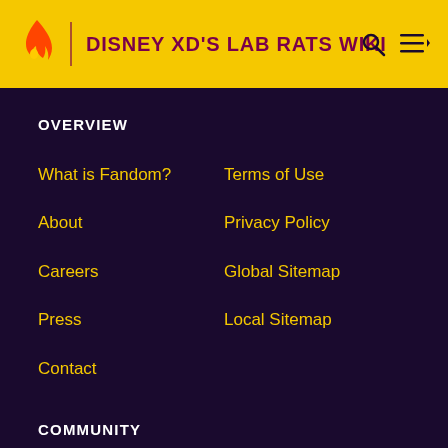DISNEY XD'S LAB RATS WIKI
OVERVIEW
What is Fandom?
Terms of Use
About
Privacy Policy
Careers
Global Sitemap
Press
Local Sitemap
Contact
COMMUNITY
Community Central
Help
Support